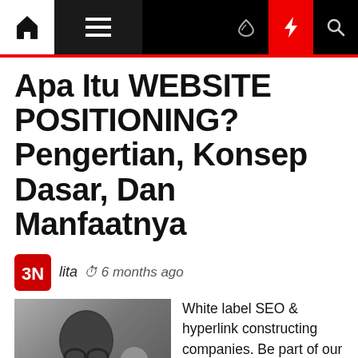Navigation bar with home, menu, dark mode, lightning, search icons
Apa Itu WEBSITE POSITIONING? Pengertian, Konsep Dasar, Dan Manfaatnya
lita  6 months ago
[Figure (photo): Black and white photo of a bald man with glasses looking to the side, with a woman in background]
White label SEO & hyperlink constructing companies. Be part of our mission to